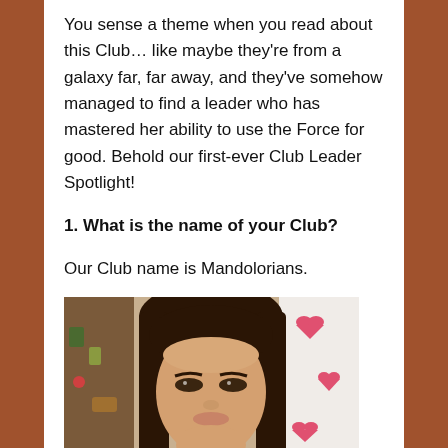You sense a theme when you read about this Club… like maybe they're from a galaxy far, far away, and they've somehow managed to find a leader who has mastered her ability to use the Force for good. Behold our first-ever Club Leader Spotlight!
1. What is the name of your Club?
Our Club name is Mandolorians.
[Figure (photo): Portrait photo of a young woman with long dark brown hair, looking at the camera. Background shows colorful decorations including hearts on the right side.]